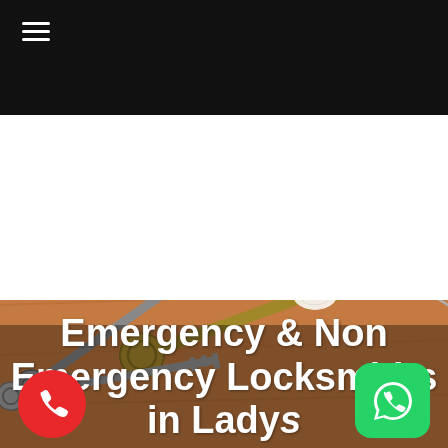[Figure (photo): Photo of various keys, a padlock, lock cylinder, and lockpicking tools arranged on a wooden surface. The image forms the background of the lower portion of the page.]
Emergency & Non Emergency Locksmiths in Ladys